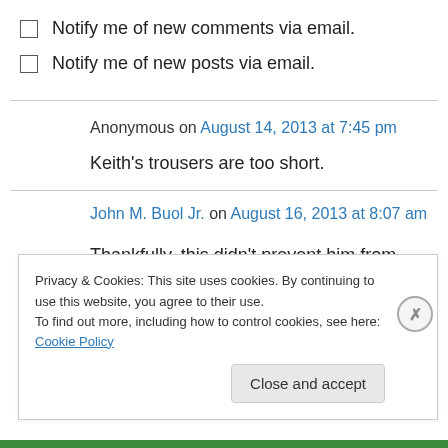Notify me of new comments via email.
Notify me of new posts via email.
Anonymous on August 14, 2013 at 7:45 pm
Keith's trousers are too short.
John M. Buol Jr. on August 16, 2013 at 8:07 am
Thankfully, this didn't prevent him from shooting
Privacy & Cookies: This site uses cookies. By continuing to use this website, you agree to their use. To find out more, including how to control cookies, see here: Cookie Policy
Close and accept